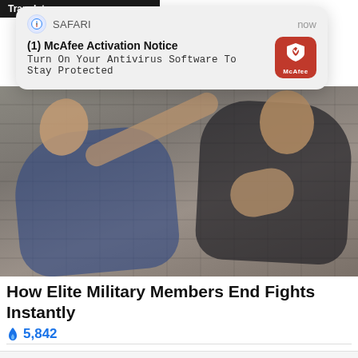[Figure (screenshot): Safari push notification popup from McAfee: '(1) McAfee Activation Notice — Turn On Your Antivirus Software To Stay Protected' with McAfee red shield icon, timestamp 'now']
[Figure (photo): Two men in a fight scene against a stone wall — one man in dark shirt applying a palm strike to the face of another man in a blue shirt]
How Elite Military Members End Fights Instantly
🔥 5,842
Sponsored Ad